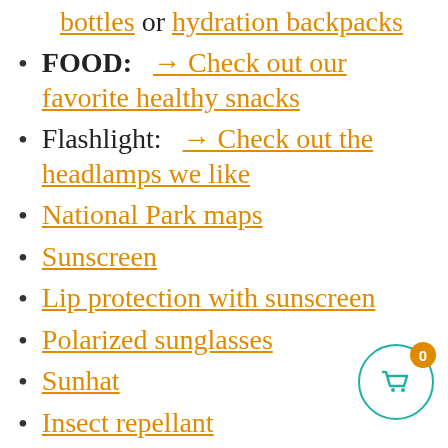bottles or hydration backpacks
FOOD:  → Check out our favorite healthy snacks
Flashlight:   → Check out the headlamps we like
National Park maps
Sunscreen
Lip protection with sunscreen
Polarized sunglasses
Sunhat
Insect repellant